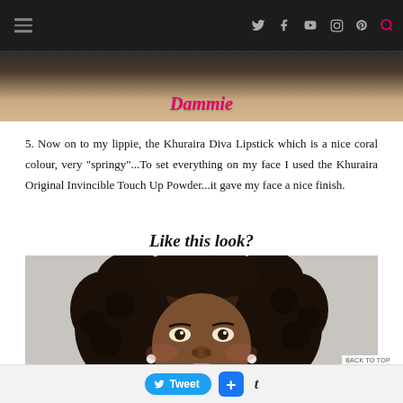[Figure (screenshot): Website navigation bar with hamburger menu icon on left and social media icons (Twitter, Facebook, YouTube, Instagram, Pinterest, Search) on right against dark background, with partial blog header image showing a logo in pink italic script]
5. Now on to my lippie, the Khuraira Diva Lipstick which is a nice coral colour, very "springy"...To set everything on my face I used the Khuraira Original Invincible Touch Up Powder...it gave my face a nice finish.
Like this look?
[Figure (photo): Portrait photo of a young Black woman with curly bob hairstyle, pearl earrings, wearing makeup with coral/pink lips, smiling at camera against light grey background]
Tweet  + t